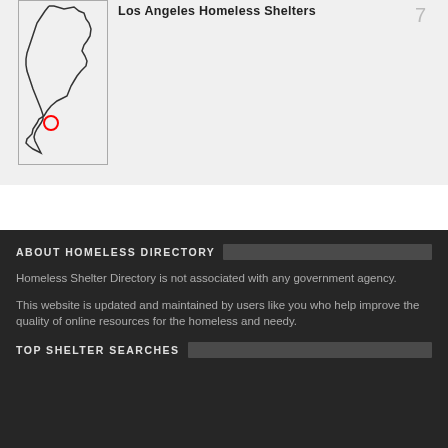[Figure (map): Outline map of California with a red circle marker indicating Los Angeles location]
Los Angeles Homeless Shelters
7
ABOUT HOMELESS DIRECTORY
Homeless Shelter Directory is not associated with any government agency.
This website is updated and maintained by users like you who help improve the quality of online resources for the homeless and needy.
TOP SHELTER SEARCHES